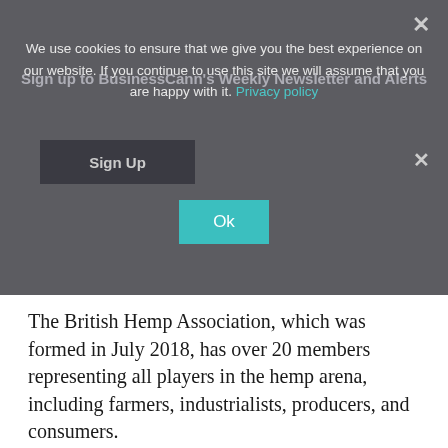[Figure (screenshot): Cookie consent overlay with dark grey background. Shows newsletter sign-up text faintly behind, cookie notice text reading 'We use cookies to ensure that we give you the best experience on our website. If you continue to use this site we will assume that you are happy with it. Privacy policy', a 'Sign Up' button on the left, an 'Ok' button in teal/green, and close X buttons.]
The British Hemp Association, which was formed in July 2018, has over 20 members representing all players in the hemp arena, including farmers, industrialists, producers, and consumers.
It is lobbying for an increase of the legal THC allowed in the hemp plant from 0.2% to at least 0.3% – as in the U.S. and Canada – but preferably 1%, like Switzerland, Australia and New Zealand.
It also wants farmers to be permitted to use